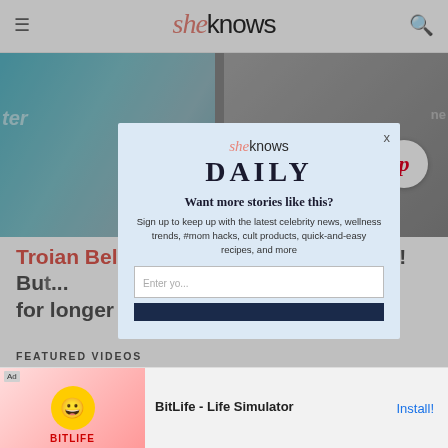sheknows
[Figure (photo): Celebrity couple photo, woman with teal patterned dress on left, man in grey suit on right, partially visible]
Troian Bellisa... beau Patrick J. Adams! But ... for longer tha...
FEATURED VIDEOS
[Figure (screenshot): Modal popup overlay with SheKnows Daily newsletter signup. Contains logo, DAILY heading, 'Want more stories like this?' text, description, email input, and subscribe button.]
[Figure (screenshot): Ad banner for BitLife - Life Simulator with Install button]